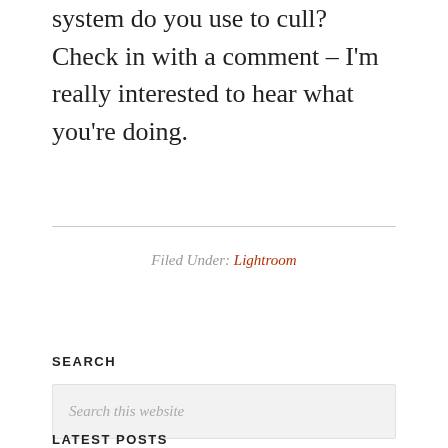system do you use to cull? Check in with a comment – I'm really interested to hear what you're doing.
Filed Under: Lightroom
SEARCH
Search this website
LATEST POSTS